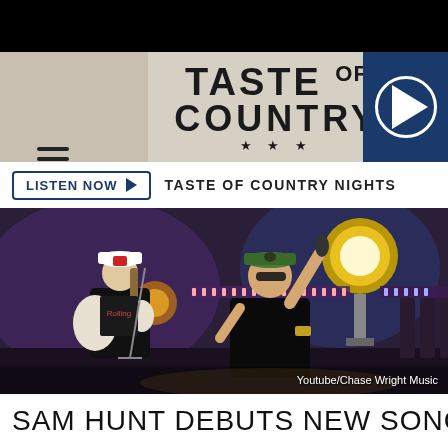[Figure (screenshot): Taste of Country website header with logo, hamburger menu, and play button]
LISTEN NOW ▶  TASTE OF COUNTRY NIGHTS
[Figure (photo): Concert photo of Sam Hunt performing on stage with a guitarist, stage lights in background. Credit: Youtube/Chase Wright Music]
Youtube/Chase Wright Music
SAM HUNT DEBUTS NEW SONG